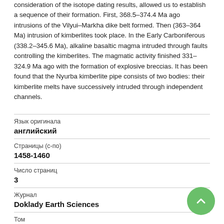consideration of the isotope dating results, allowed us to establish a sequence of their formation. First, 368.5–374.4 Ma ago intrusions of the Vilyui–Markha dike belt formed. Then (363–364 Ma) intrusion of kimberlites took place. In the Early Carboniferous (338.2–345.6 Ma), alkaline basaltic magma intruded through faults controlling the kimberlites. The magmatic activity finished 331–324.9 Ma ago with the formation of explosive breccias. It has been found that the Nyurba kimberlite pipe consists of two bodies: their kimberlite melts have successively intruded through independent channels.
| Field | Value |
| --- | --- |
| Язык оригинала | английский |
| Страницы (с-по) | 1458-1460 |
| Число страниц | 3 |
| Журнал | Doklady Earth Sciences |
| Том |  |